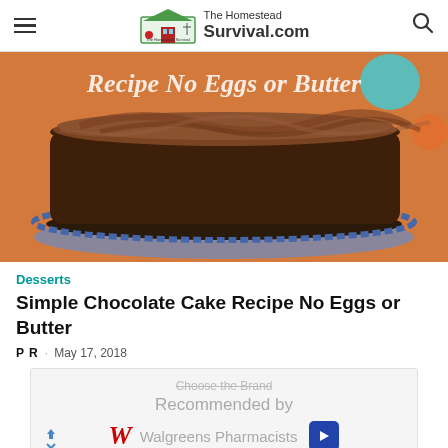The Homestead Survival.com
[Figure (photo): Chocolate cake with chocolate frosting on a decorative plate, on an orange background. Text overlay reads 'Recipe No Eggs or Butter']
Desserts
Simple Chocolate Cake Recipe No Eggs or Butter
P R · May 17, 2018
[Figure (other): Advertisement: Choose the Brand Recommended by Walgreens Pharmacists]